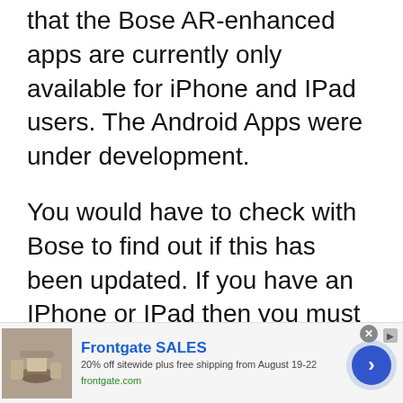that the Bose AR-enhanced apps are currently only available for iPhone and IPad users. The Android Apps were under development.
You would have to check with Bose to find out if this has been updated. If you have an IPhone or IPad then you must ensure that you download the new Bose connect App (version 8.0 or higher) to enable Bose AR.
[Figure (other): Frontgate SALES advertisement banner with outdoor furniture image, text '20% off sitewide plus free shipping from August 19-22', frontgate.com URL, and a blue circular arrow button]